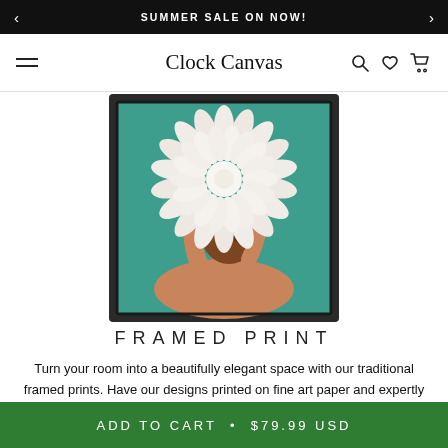SUMMER SALE ON NOW!
Clock Canvas
[Figure (photo): A framed canvas print showing a woman with her back turned, holding a large white chrysanthemum flower over her face, against a teal background, in a dark wood frame.]
FRAMED PRINT
Turn your room into a beautifully elegant space with our traditional framed prints. Have our designs printed on fine art paper and expertly fitted with a gorgeous wood frame. We offer 3 frame colors: Black, White and Gold.
ADD TO CART • $79.99 USD